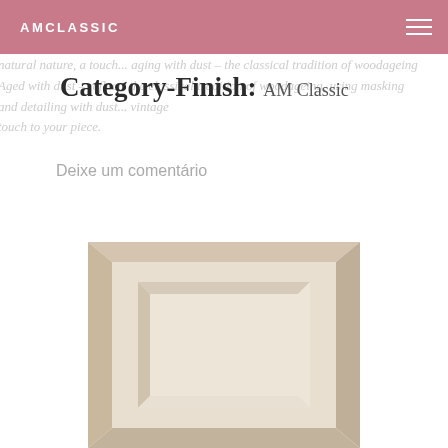AMCLASSIC
natur... [background decorative text]
Category-Finish: AM Classic
Deixe um comentário
[Figure (photo): A cream/beige colored cabinet door panel with raised frame molding, photographed on white background]